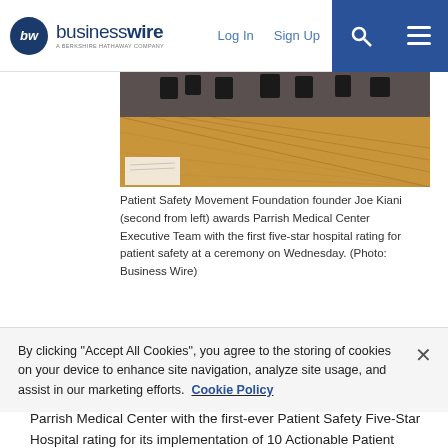businesswire | Log In | Sign Up
[Figure (photo): Photo showing people at a ceremony, with a wooden floor visible. Patient Safety Movement Foundation award ceremony photo.]
Patient Safety Movement Foundation founder Joe Kiani (second from left) awards Parrish Medical Center Executive Team with the first five-star hospital rating for patient safety at a ceremony on Wednesday. (Photo: Business Wire)
January 10, 2018 03:00 PM Eastern Standard Time
ORLANDO, Fla.--(BUSINESS WIRE)--The Patient Safety Movement Foundation (PSMF) today awarded Florida-based Parrish Medical Center with the first-ever Patient Safety Five-Star Hospital rating for its implementation of 10 Actionable Patient Safety...
By clicking "Accept All Cookies", you agree to the storing of cookies on your device to enhance site navigation, analyze site usage, and assist in our marketing efforts. Cookie Policy